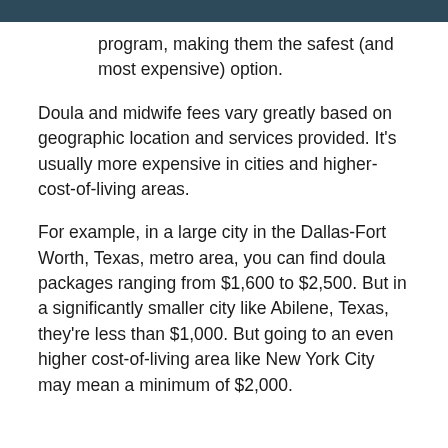program, making them the safest (and most expensive) option.
Doula and midwife fees vary greatly based on geographic location and services provided. It's usually more expensive in cities and higher-cost-of-living areas.
For example, in a large city in the Dallas-Fort Worth, Texas, metro area, you can find doula packages ranging from $1,600 to $2,500. But in a significantly smaller city like Abilene, Texas, they're less than $1,000. But going to an even higher cost-of-living area like New York City may mean a minimum of $2,000.